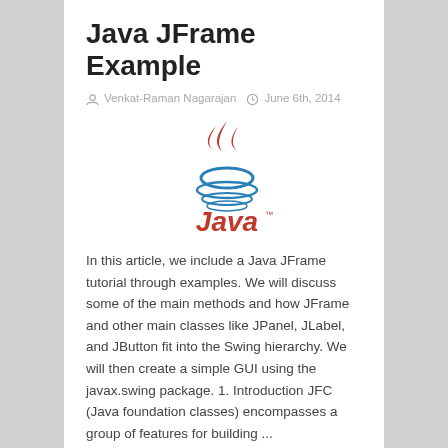Java JFrame Example
Venkat-Raman Nagarajan  June 6th, 2014
[Figure (logo): Java programming language logo — red steam/flame above a blue coffee cup with blue ripples, and red italic 'Java' text with trademark symbol below]
In this article, we include a Java JFrame tutorial through examples. We will discuss some of the main methods and how JFrame and other main classes like JPanel, JLabel, and JButton fit into the Swing hierarchy. We will then create a simple GUI using the javax.swing package. 1. Introduction JFC (Java foundation classes) encompasses a group of features for building ...
Read More »